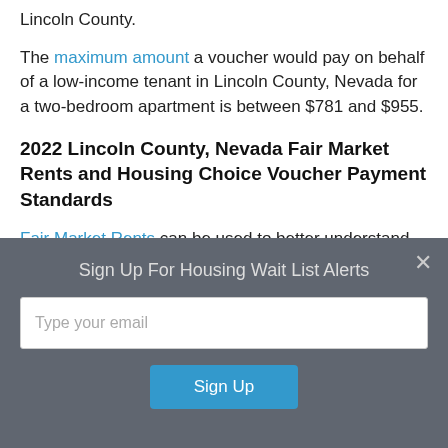Lincoln County.
The maximum amount a voucher would pay on behalf of a low-income tenant in Lincoln County, Nevada for a two-bedroom apartment is between $781 and $955.
2022 Lincoln County, Nevada Fair Market Rents and Housing Choice Voucher Payment Standards
Fair Market Rents can be used to better understand the average housing costs of an area. Fair Market Rents are used by HUD to establish payment and rent standards for
Sign Up For Housing Wait List Alerts
Type your email
Sign Up